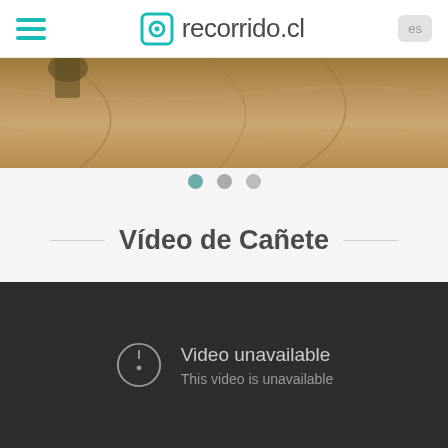recorrido.cl
[Figure (photo): Partial view of a road/path in earthy brown tones, aerial or close-up perspective]
[Figure (other): Three navigation dots: first dot active (teal/dark), second and third dots grey]
Vídeo de Cañete
[Figure (screenshot): Embedded video player showing error: 'Video unavailable - This video is unavailable' on dark background]